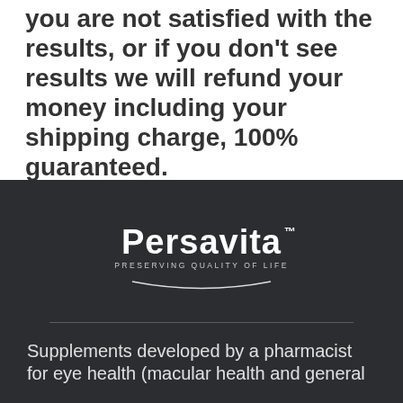you are not satisfied with the results, or if you don't see results we will refund your money including your shipping charge, 100% guaranteed.
[Figure (logo): Persavita logo — white text on dark background. Large bold 'Persavita' wordmark with trademark symbol, subtitle 'PRESERVING QUALITY OF LIFE' in small caps, and a curved underline arc beneath.]
Supplements developed by a pharmacist for eye health (macular health and general